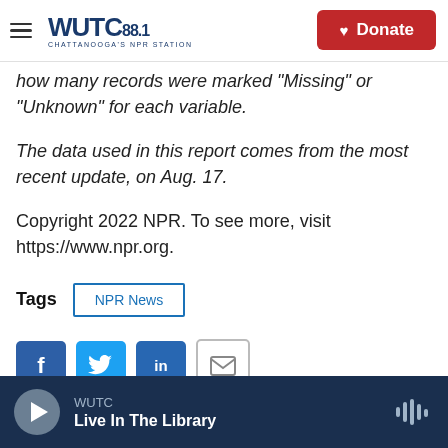WUTC 88.1 Chattanooga's NPR Station — Donate
how many records were marked "Missing" or "Unknown" for each variable.
The data used in this report comes from the most recent update, on Aug. 17.
Copyright 2022 NPR. To see more, visit https://www.npr.org.
Tags  NPR News
[Figure (other): Social sharing buttons: Facebook, Twitter, LinkedIn, Email]
WUTC — Live In The Library